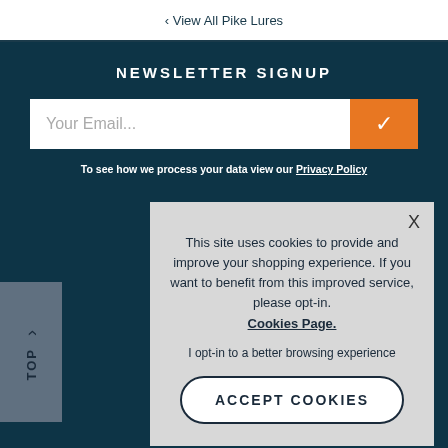‹ View All Pike Lures
NEWSLETTER SIGNUP
Your Email...
To see how we process your data view our Privacy Policy
This site uses cookies to provide and improve your shopping experience. If you want to benefit from this improved service, please opt-in. Cookies Page.
I opt-in to a better browsing experience
ACCEPT COOKIES
TOP